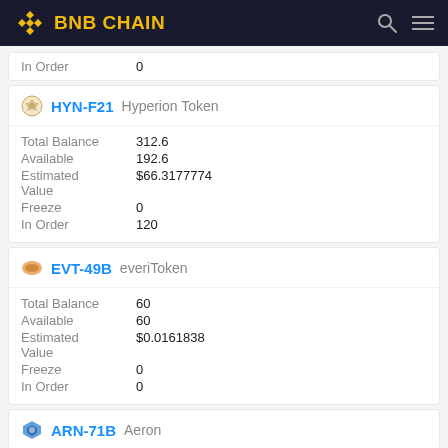BNB CHAIN
In Order  0
HYN-F21 Hyperion Token
| Field | Value |
| --- | --- |
| Total Balance | 312.6 |
| Available | 192.6 |
| Estimated Value | $66.3177774 |
| Freeze | 0 |
| In Order | 120 |
EVT-49B everiToken
| Field | Value |
| --- | --- |
| Total Balance | 60 |
| Available | 60 |
| Estimated Value | $0.0161838 |
| Freeze | 0 |
| In Order | 0 |
ARN-71B Aeron